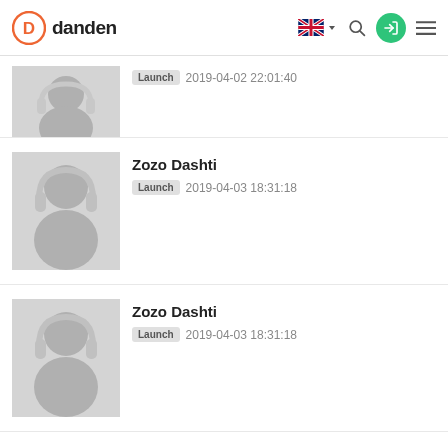danden — navigation header with logo, UK flag language selector, search, login, and menu icons
[Figure (screenshot): Partial list row showing a grey avatar placeholder with headphone icon and Launch badge with date 2019-04-02 22:01:40]
Zozo Dashti
Launch  2019-04-03 18:31:18
Zozo Dashti
Launch  2019-04-03 18:31:18